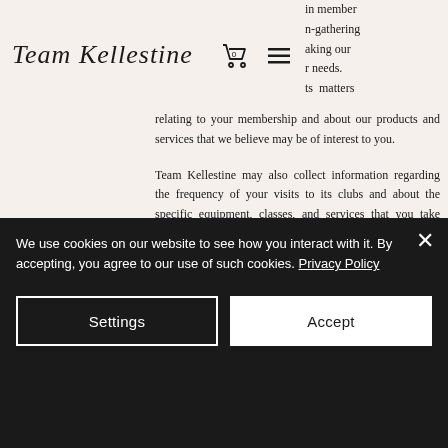Team Kellestine
in member n-gathering aking our r needs. ts matters relating to your membership and about our products and services that we believe may be of interest to you.
Team Kellestine may also collect information regarding the frequency of your visits to its clubs and about the specific equipment, classes, and services that you take advantage of, so that we may constantly strive to offer you the best range of fitness options.
Team Kellestine wants to hear from its members regarding any issues or comments they may have with respect to their memberships or any services
We use cookies on our website to see how you interact with it. By accepting, you agree to our use of such cookies. Privacy Policy